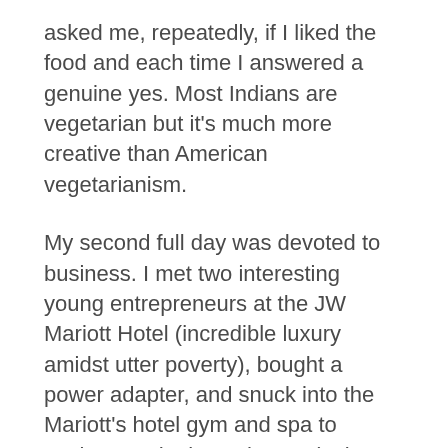asked me, repeatedly, if I liked the food and each time I answered a genuine yes. Most Indians are vegetarian but it's much more creative than American vegetarianism.
My second full day was devoted to business. I met two interesting young entrepreneurs at the JW Mariott Hotel (incredible luxury amidst utter poverty), bought a power adapter, and snuck into the Mariott's hotel gym and spa to workout and take a shower (I also stole their toilet paper from the bathroom to keep in my stash). I hired a driver to take me around — a change of pace from the rickshaw the